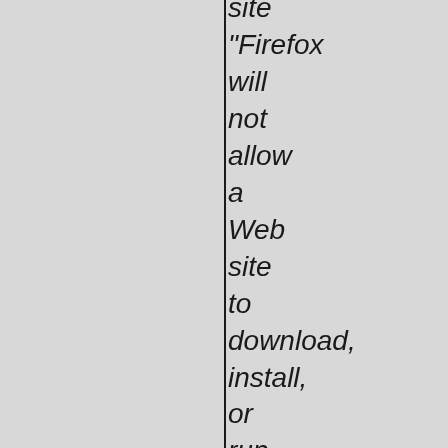site “Firefox will not allow a Web site to download, install, or run programs on your computer without your explicit agreement. Period. You will be notified whenever downloading